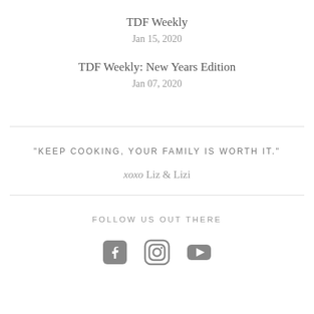TDF Weekly
Jan 15, 2020
TDF Weekly: New Years Edition
Jan 07, 2020
"KEEP COOKING, YOUR FAMILY IS WORTH IT."
xoxo Liz & Lizi
FOLLOW US OUT THERE
[Figure (illustration): Three social media icons: Facebook, Instagram, YouTube]